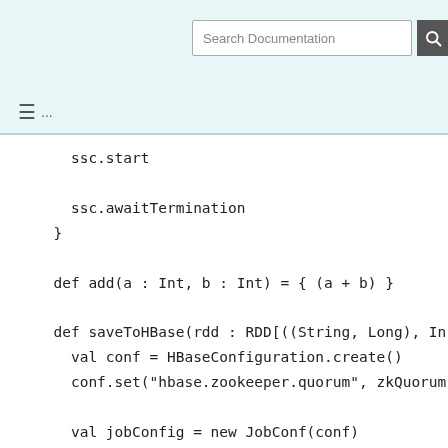Search Documentation
≡ ...
ssc.start

    ssc.awaitTermination
  }

  def add(a : Int, b : Int) = { (a + b) }

  def saveToHBase(rdd : RDD[((String, Long), In
    val conf = HBaseConfiguration.create()
    conf.set("hbase.zookeeper.quorum", zkQuorum

    val jobConfig = new JobConf(conf)
    jobConfig.set(TableOutputFormat.OUTPUT_TABL
    jobConfig.setOutputFormat(classOf[TableOutp

    new PairRDDFunctions(rdd.map { case ((metri
  }